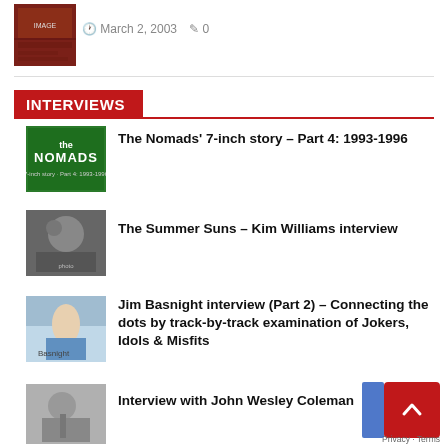[Figure (photo): Thumbnail image top left, reddish-brown album/poster image]
March 2, 2003   0
INTERVIEWS
[Figure (photo): Green album cover with 'the NOMADS' text, 7-inch story Part 4 1993-1996]
The Nomads' 7-inch story – Part 4: 1993-1996
[Figure (photo): Black and white photo of person with patterned bandana]
The Summer Suns – Kim Williams interview
[Figure (photo): Photo of Jim Basnight with arms outstretched in blue shirt]
Jim Basnight interview (Part 2) – Connecting the dots by track-by-track examination of Jokers, Idols & Misfits
[Figure (photo): Photo of bearded man with guitar, John Wesley Coleman]
Interview with John Wesley Coleman